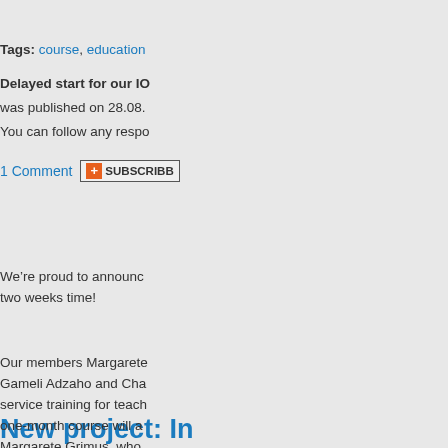Tags: course, education
Delayed start for our IO... was published on 28.08. You can follow any respo...
1 Comment [SUBSCRIBE]
New project: I... skills in publi...
We're proud to announc... two weeks time!
Our members Margarete... Gameli Adzaho and Cha... service training for teach... one-month course will a... Margarete Grimus, who... course and meet with se...
The main objective of th...